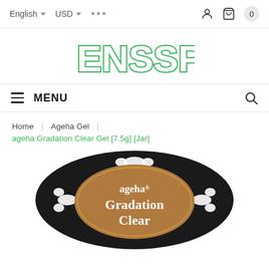English  USD  •••
[Figure (logo): ENSSPA logo in green bubble letters with white interior and green outline]
MENU
Home | Ageha Gel | ageha Gradation Clear Gel [7.5g] [Jar]
[Figure (photo): Product jar with black lid showing ageha Gradation Clear label on a brown oval background with white decorative flourishes]